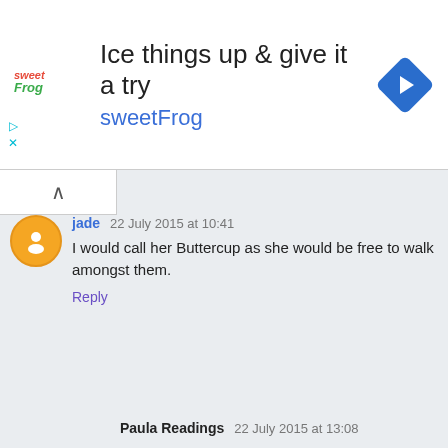[Figure (other): sweetFrog advertisement banner: logo on left, headline 'Ice things up & give it a try', subtext 'sweetFrog' in blue, blue diamond navigation icon on right]
jade 22 July 2015 at 10:41
I would call her Buttercup as she would be free to walk amongst them.
Reply
Paula Readings 22 July 2015 at 13:08
Buttercup.
Reply
Isis1981uk 22 July 2015 at 19:58
Daisy Doo...just because!
Reply